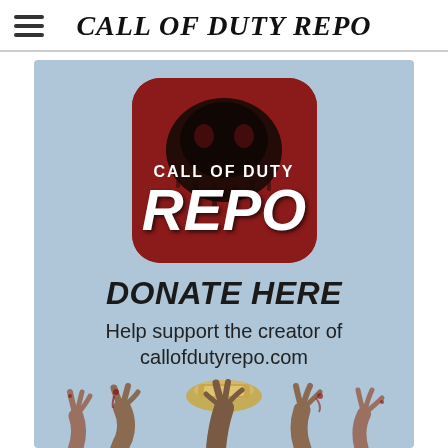CALL OF DUTY REPO
[Figure (illustration): Call of Duty Repo logo: red rounded-square app icon with dark splatter/skull graphic, white text reading CALL OF DUTY above large bold italic REPO. Below the logo is a donate panel with text DONATE HERE and Help support the creator of callofdutyrepo.com, with zombie hands reaching up at the bottom.]
DONATE HERE
Help support the creator of callofdutyrepo.com